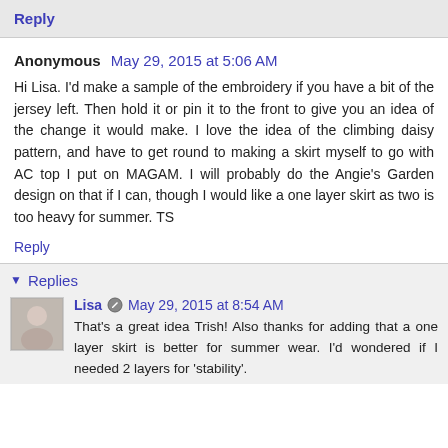Reply
Anonymous  May 29, 2015 at 5:06 AM
Hi Lisa. I'd make a sample of the embroidery if you have a bit of the jersey left. Then hold it or pin it to the front to give you an idea of the change it would make. I love the idea of the climbing daisy pattern, and have to get round to making a skirt myself to go with AC top I put on MAGAM. I will probably do the Angie's Garden design on that if I can, though I would like a one layer skirt as two is too heavy for summer. TS
Reply
Replies
Lisa  May 29, 2015 at 8:54 AM
That's a great idea Trish! Also thanks for adding that a one layer skirt is better for summer wear. I'd wondered if I needed 2 layers for 'stability'.